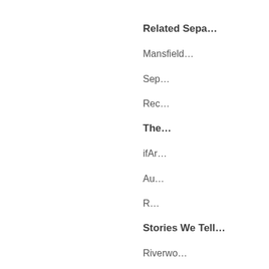Related Sepa…
Mansfield…
Sep…
Rec…
The…
ifAr…
Au…
R…
Stories We Tell…
Riverwo…